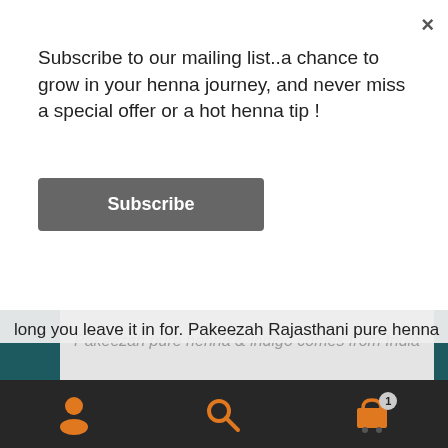Subscribe to our mailing list..a chance to grow in your henna journey, and never miss a special offer or a hot henna tip !
Subscribe
Pakeezah pure henna & indigo comes from India
10 % off when you sign up to the Newsletter ! Enter your e mail address in the sign up link towards the bottom of this page & remember to click the opt in link in the confirmation e mail (check junk mail).
Dismiss
long you leave it in for. Pakeezah Rajasthani pure henna